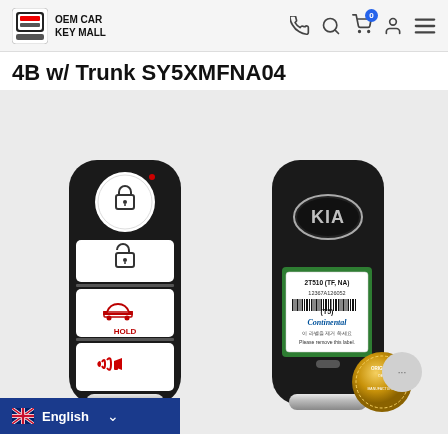OEM CAR KEY MALL
4B w/ Trunk SY5XMFNA04
[Figure (photo): Two Kia 4-button smart key fobs shown front and back. Front view shows lock button (large round at top), unlock button, trunk/hold button, and panic/horn button (red icons). Back view shows KIA logo oval badge and a green Continental manufacturer label reading '2T510 (TF, NA) 12367A126052 (T5) Continental - 이 라벨을 제거 하세요 Please remove this label.']
English